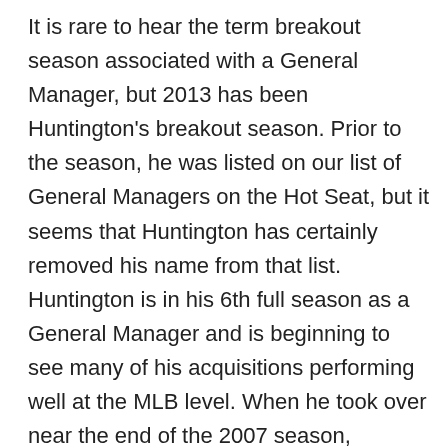It is rare to hear the term breakout season associated with a General Manager, but 2013 has been Huntington's breakout season. Prior to the season, he was listed on our list of General Managers on the Hot Seat, but it seems that Huntington has certainly removed his name from that list. Huntington is in his 6th full season as a General Manager and is beginning to see many of his acquisitions performing well at the MLB level. When he took over near the end of the 2007 season, Huntington was tasked with turning around an organization that was in the midst of its 15th straight losing season. The difference this season has been Huntington's ability to sign and trade for inexpensive players, as are a low-budget organization While this is just Huntington's first winning season, he has been laying the ground work for quite some time. Huntington has been effective in the draft, having acquired